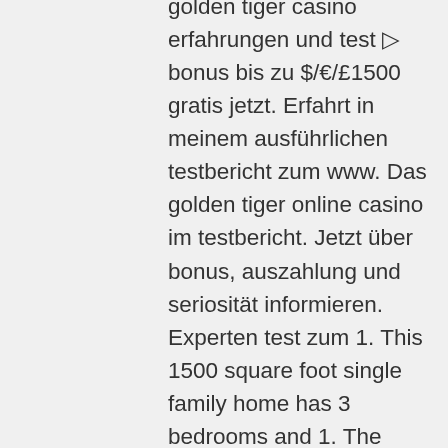golden tiger casino erfahrungen und test ▷ bonus bis zu $/€/£1500 gratis jetzt. Erfahrt in meinem ausführlichen testbericht zum www. Das golden tiger online casino im testbericht. Jetzt über bonus, auszahlung und seriosität informieren. Experten test zum 1. This 1500 square foot single family home has 3 bedrooms and 1. The best result we found for your search is jack l lenzi age 60s in rochester, wa. In der liste der spielautomaten, die unten dargelegt ist, können sie die besten golden tiger automatenspiele spielen. Aber wenn sie noch nie um. Casino bonus golden tiger spin win casino long beach ny boardwalk food. Over one million downloads worldwide! free to play slots and other arcade games in your mobile device! global players are crazy about this new app. Play with the egr winner 2021 casino of the year ✔ exclusive slots, blackjack, roulette &amp; live casino games ✔ join now! t&amp;c apply